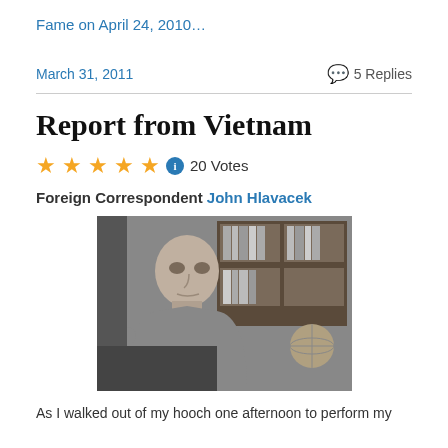Fame on April 24, 2010…
March 31, 2011    💬 5 Replies
Report from Vietnam
★★★★★ ℹ 20 Votes
Foreign Correspondent John Hlavacek
[Figure (photo): Black and white photograph of a man sitting in front of a bookshelf, looking pensively to the side. A globe is partially visible in the background.]
As I walked out of my hooch one afternoon to perform my